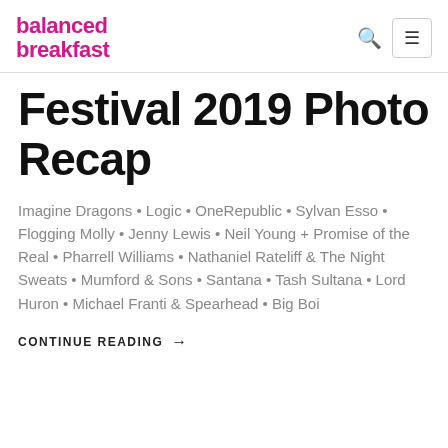balanced breakfast
Festival 2019 Photo Recap
Imagine Dragons • Logic • OneRepublic • Sylvan Esso • Flogging Molly • Jenny Lewis • Neil Young + Promise of the Real • Pharrell Williams • Nathaniel Rateliff & The Night Sweats • Mumford & Sons • Santana • Tash Sultana • Lord Huron • Michael Franti & Spearhead • Big Boi
CONTINUE READING →